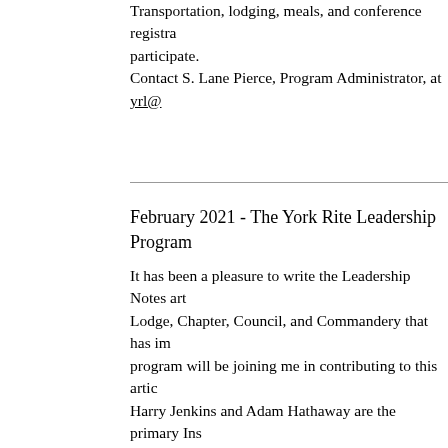Transportation, lodging, meals, and conference registra... participate. Contact S. Lane Pierce, Program Administrator, at yrl@...
February 2021 - The York Rite Leadership Program
It has been a pleasure to write the Leadership Notes art... Lodge, Chapter, Council, and Commandery that has im... program will be joining me in contributing to this artic... Harry Jenkins and Adam Hathaway are the primary Ins... master of New Mexico. Besides being a leader in many... from New Mexico. He is a pro- fessional trainer of tho... inspires others to action. The YRL101 class discusses the personal traits and qua... leader. This class will help you with assessing your cur... Maxwell, Tracey, and others. Upon completing the clas... Charles O'Neil and Steve Balke are the primary Instruc... Connecticut. He is vice president of client operations f... Balke is the general grand recorder of Cryptic Masons... training. Brother Balke is the principal architect behind...